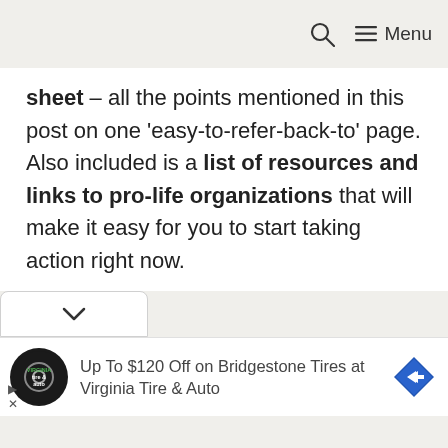🔍  ≡ Menu
sheet – all the points mentioned in this post on one 'easy-to-refer-back-to' page. Also included is a list of resources and links to pro-life organizations that will make it easy for you to start taking action right now.
[Figure (other): Accordion/collapse toggle bar with a chevron down icon]
[Figure (other): Advertisement banner: Virginia Tire & Auto logo (circular black badge), text 'Up To $120 Off on Bridgestone Tires at Virginia Tire & Auto', blue diamond direction arrow icon. Skip/close controls at bottom left.]